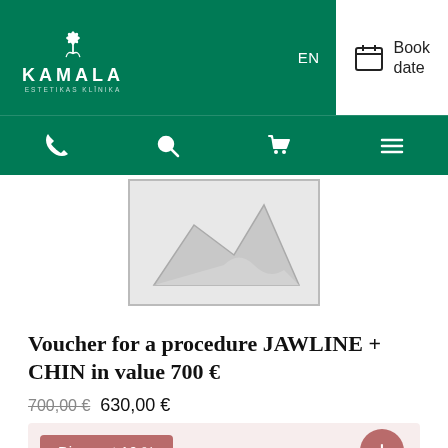KAMALA ESTETIKAS KLĪNIKA
[Figure (screenshot): Placeholder product image with gray mountain/landscape silhouette icon]
Voucher for a procedure JAWLINE + CHIN in value 700 €
700,00 € 630,00 €
Discount 16 %